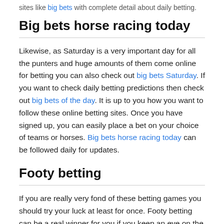sites like big bets with complete detail about daily betting.
Big bets horse racing today
Likewise, as Saturday is a very important day for all the punters and huge amounts of them come online for betting you can also check out big bets Saturday. If you want to check daily betting predictions then check out big bets of the day. It is up to you how you want to follow these online betting sites. Once you have signed up, you can easily place a bet on your choice of teams or horses. Big bets horse racing today can be followed daily for updates.
Footy betting
If you are really very fond of these betting games you should try your luck at least for once. Footy betting can be a real winner for you if you keep an eye on the predictions and get the odds calculated rightly. Right strategy can make you win